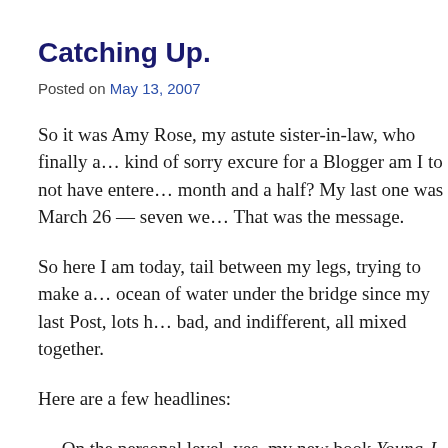Catching Up.
Posted on May 13, 2007
So it was Amy Rose, my astute sister-in-law, who finally asked: what kind of sorry excure for a Blogger am I to not have entered a post in a month and a half? My last one was March 26 — seven we... That was the message.
So here I am today, tail between my legs, trying to make a... ocean of water under the bridge since my last Post, lots h... bad, and indifferent, all mixed together.
Here are a few headlines:
— On the personal level, yes, my new book Young J. Edgar... respectable pre-pub reviews in Publishers Weekly and Kir... Bob Edwards Show on XM radio, good, solid opening ever...